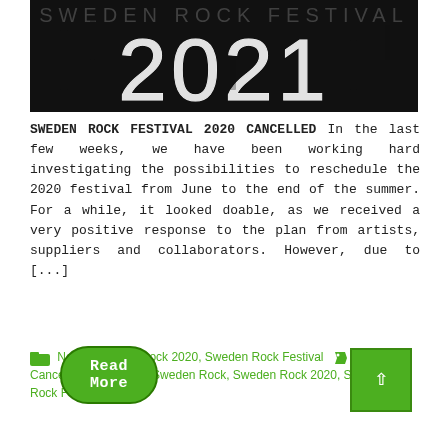[Figure (photo): Dark/black background with large grunge-style white text reading '2021', with partial text visible above]
SWEDEN ROCK FESTIVAL 2020 CANCELLED In the last few weeks, we have been working hard investigating the possibilities to reschedule the 2020 festival from June to the end of the summer. For a while, it looked doable, as we received a very positive response to the plan from artists, suppliers and collaborators. However, due to [...]
News, Sweden Rock 2020, Sweden Rock Festival Cancelled, COVID-19, Sweden Rock, Sweden Rock 2020, Sweden Rock Festival